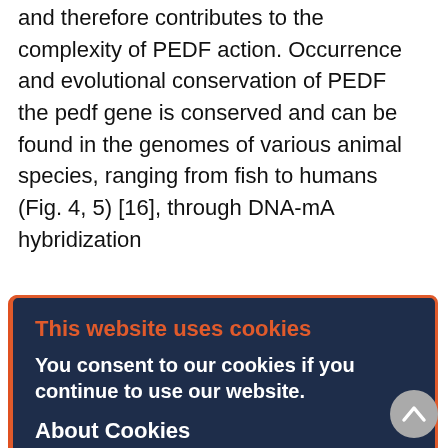and therefore contributes to the complexity of PEDF action. Occurrence and evolutional conservation of PEDF the pedf gene is conserved and can be found in the genomes of various animal species, ranging from fish to humans (Fig. 4, 5) [16], through DNA-mA hybridization
[Figure (screenshot): Cookie consent modal dialog with dark navy background and orange border. Contains title 'This website uses cookies' in orange, body text 'You consent to our cookies if you continue to use our website.' in white, 'About Cookies' heading in white, and an OK button in blue.]
interacted with the cytoplasm of developing photoreceptors, the glial layer, single cells in the neuroblast layer, and pigment granules in pigment epithelium cells (starting from the 8th